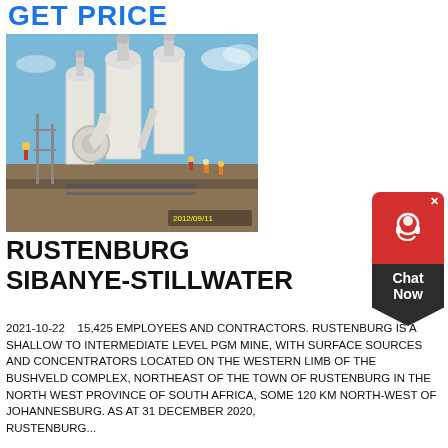GET PRICE
[Figure (photo): Industrial mining equipment — large white cyclone/mill machines on a construction site with workers, dated 2012/09/11]
[Figure (other): Chat Now widget button with headset icon on red and dark background]
RUSTENBURG SIBANYE-STILLWATER
2021-10-22    15,425 EMPLOYEES AND CONTRACTORS. RUSTENBURG IS A SHALLOW TO INTERMEDIATE LEVEL PGM MINE, WITH SURFACE SOURCES AND CONCENTRATORS LOCATED ON THE WESTERN LIMB OF THE BUSHVELD COMPLEX, NORTHEAST OF THE TOWN OF RUSTENBURG IN THE NORTH WEST PROVINCE OF SOUTH AFRICA, SOME 120 KM NORTH-WEST OF JOHANNESBURG. AS AT 31 DECEMBER 2020, RUSTENBURG...